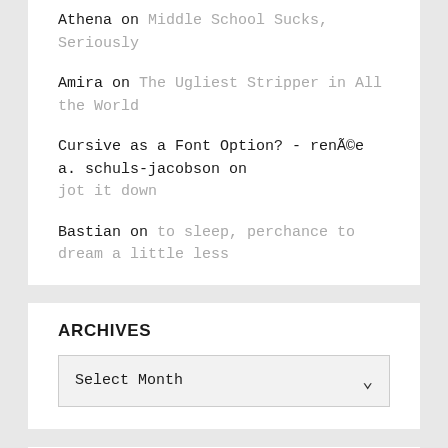Athena on Middle School Sucks, Seriously
Amira on The Ugliest Stripper in All the World
Cursive as a Font Option? - renÃ©e a. schuls-jacobson on jot it down
Bastian on to sleep, perchance to dream a little less
ARCHIVES
Select Month
MOST POPULAR POSTS
my hitchhiker
you don't wear the shirt of the band you're in